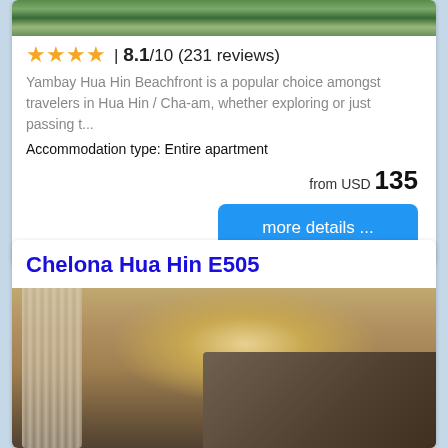[Figure (photo): Aerial/top-down view of hotel property with green vegetation]
| 8.1/10 (231 reviews)
Yambay Hua Hin Beachfront is a popular choice amongst travelers in Hua Hin / Cha-am, whether exploring or just passing t...
Accommodation type: Entire apartment
from USD 135
more details ...
Chelona Hua Hin E505
[Figure (photo): Hotel room interior showing two single beds with patterned pillows, warm wall lighting, white curtains]